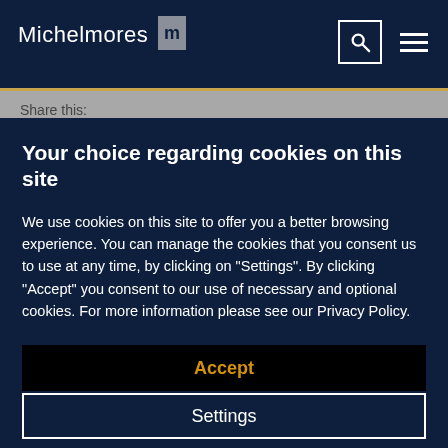Michelmores
Share this:
Your choice regarding cookies on this site
We use cookies on this site to offer you a better browsing experience. You can manage the cookies that you consent us to use at any time, by clicking on "Settings". By clicking "Accept" you consent to our use of necessary and optional cookies. For more information please see our Privacy Policy.
Accept
Settings